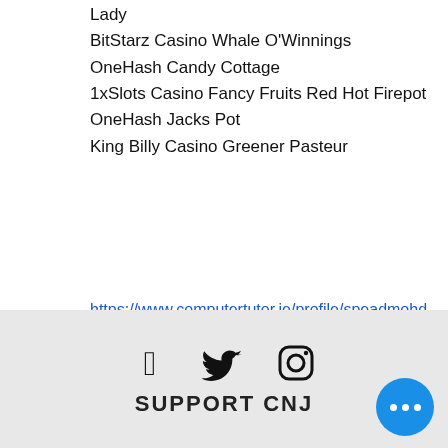Lady
BitStarz Casino Whale O'Winnings
OneHash Candy Cottage
1xSlots Casino Fancy Fruits Red Hot Firepot
OneHash Jacks Pot
King Billy Casino Greener Pasteur
https://www.computertutor.ie/profile/speadmohd2/profile
https://www.yukon4explore.com/profile/tettehlaningm/profile
https://www.gkacademic.net/profile/carpentiley8/profile
https://www.slovakrn.org/profile/menueywatere/profile
SUPPORT CNJ (social icons: Facebook, Twitter, Instagram)